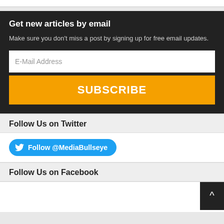Get new articles by email
Make sure you don't miss a post by signing up for free email updates.
E-Mail Address
SUBSCRIBE
Follow Us on Twitter
Follow @MediaBullseye
Follow Us on Facebook